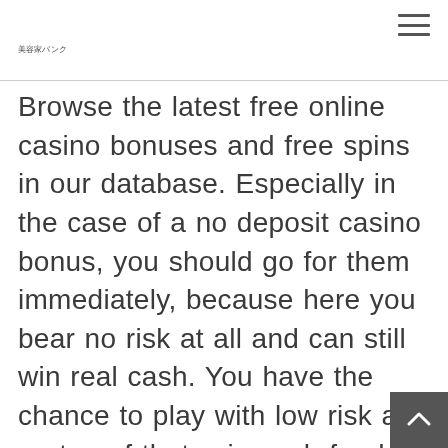美容家バンク
Browse the latest free online casino bonuses and free spins in our database. Especially in the case of a no deposit casino bonus, you should go for them immediately, because here you bear no risk at all and can still win real cash. You have the chance to play with low risk and on top of that, win cash funds. We have selected such special offers for you, and there are loads of awesome promotions at the gambling sites we approved. In many instances, you can only wager a maxim